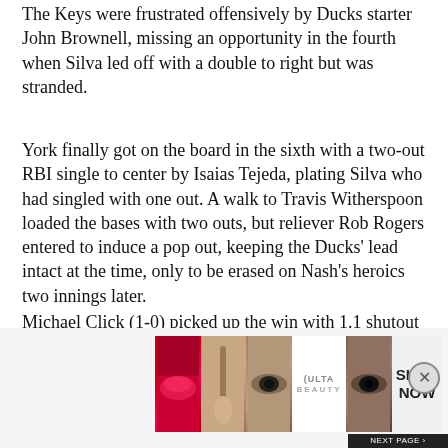The Keys were frustrated offensively by Ducks starter John Brownell, missing an opportunity in the fourth when Silva led off with a double to right but was stranded.
York finally got on the board in the sixth with a two-out RBI single to center by Isaias Tejeda, plating Silva who had singled with one out. A walk to Travis Witherspoon loaded the bases with two outs, but reliever Rob Rogers entered to induce a pop out, keeping the Ducks' lead intact at the time, only to be erased on Nash's heroics two innings later.
Michael Click (1-0) picked up the win with 1.1 shutout innings in relief. A huge turn of events came in the top of the eighth when Silva ran down a bloop pop by Elmer Reyes, making an over-the-shoulder grab and firing to first where Nash made a great pick to retire Alfonzo on a double play. Click whiffed Le
Advertisements
[Figure (photo): ULTA Beauty advertisement banner with cosmetic images including lips, makeup brush, eye makeup, ULTA logo, more eye makeup, and SHOP NOW text]